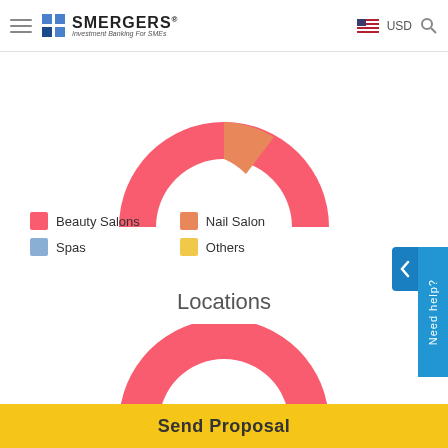SMERGERS - Investment Banking For SMEs | USD
[Figure (donut-chart): Business Type]
Beauty Salons  Nail Salon  Spas  Others
Locations
[Figure (donut-chart): Locations]
Send Proposal